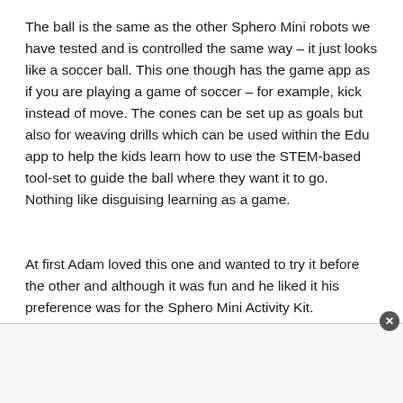The ball is the same as the other Sphero Mini robots we have tested and is controlled the same way – it just looks like a soccer ball. This one though has the game app as if you are playing a game of soccer – for example, kick instead of move. The cones can be set up as goals but also for weaving drills which can be used within the Edu app to help the kids learn how to use the STEM-based tool-set to guide the ball where they want it to go. Nothing like disguising learning as a game.
At first Adam loved this one and wanted to try it before the other and although it was fun and he liked it his preference was for the Sphero Mini Activity Kit.
[Figure (other): Advertisement banner area at the bottom of the page with a close button (×) in the top-right corner]